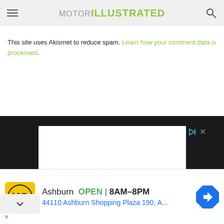MOTOR ILLUSTRATED
This site uses Akismet to reduce spam. Learn how your comment data is processed.
[Figure (screenshot): Dark background ad container with white rectangle ad area and playback/close controls]
[Figure (screenshot): Bottom advertisement banner: HC logo (yellow), Ashburn OPEN 8AM-8PM, 44110 Ashburn Shopping Plaza 190, A... with blue navigation arrow icon]